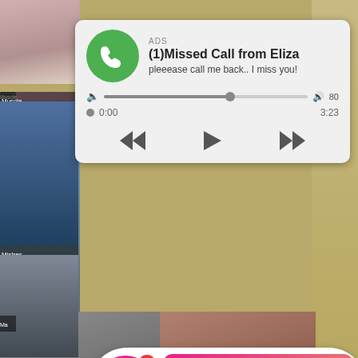[Figure (screenshot): Background collage of thumbnail images behind ad overlays, on a tan/olive background]
ADS
(1)Missed Call from Eliza
pleeease call me back.. I miss you!
0:00   3:23
ADS
Jeniffer 2000
(00:12)🎵
Emma (33) sent you a sex request🔞🔞
Ashburn
Tap and get her contact 📍Ashburn 📍